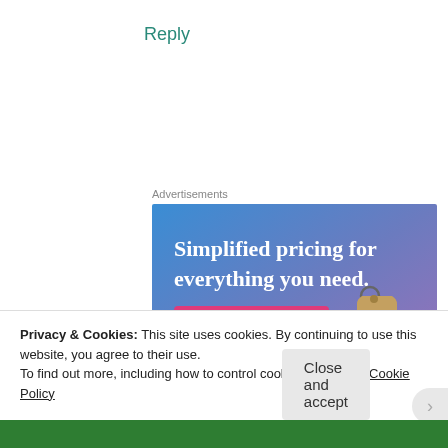Reply
Advertisements
[Figure (illustration): Advertisement banner with blue-to-purple gradient background. White text reads 'Simplified pricing for everything you need.' A pink button labeled 'Build Your Website' is on the left, and a tan/gold price tag illustration is on the right.]
Privacy & Cookies: This site uses cookies. By continuing to use this website, you agree to their use.
To find out more, including how to control cookies, see here: Cookie Policy
Close and accept